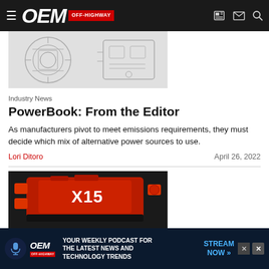OEM OFF-HIGHWAY
[Figure (photo): Sketch/line drawing of two engines side by side]
Industry News
PowerBook: From the Editor
As manufacturers pivot to meet emissions requirements, they must decide which mix of alternative power sources to use.
Lori Ditoro   April 26, 2022
[Figure (photo): Red Cummins X15 engine on black background]
[Figure (infographic): OEM Off-Highway advertisement banner: YOUR WEEKLY PODCAST FOR THE LATEST NEWS AND TECHNOLOGY TRENDS — STREAM NOW]